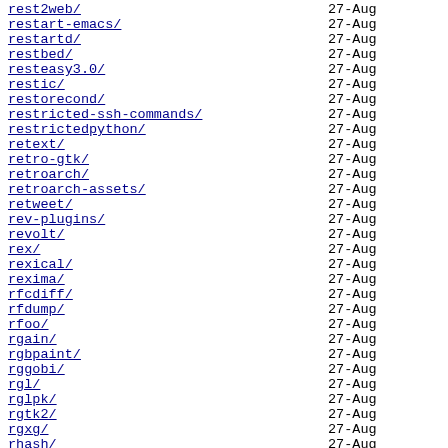rest2web/   27-Aug
restart-emacs/   27-Aug
restartd/   27-Aug
restbed/   27-Aug
resteasy3.0/   27-Aug
restic/   27-Aug
restorecond/   27-Aug
restricted-ssh-commands/   27-Aug
restrictedpython/   27-Aug
retext/   27-Aug
retro-gtk/   27-Aug
retroarch/   27-Aug
retroarch-assets/   27-Aug
retweet/   27-Aug
rev-plugins/   27-Aug
revolt/   27-Aug
rex/   27-Aug
rexical/   27-Aug
rexima/   27-Aug
rfcdiff/   27-Aug
rfdump/   27-Aug
rfoo/   27-Aug
rgain/   27-Aug
rgbpaint/   27-Aug
rggobi/   27-Aug
rgl/   27-Aug
rglpk/   27-Aug
rgtk2/   27-Aug
rgxg/   27-Aug
rhash/   27-Aug